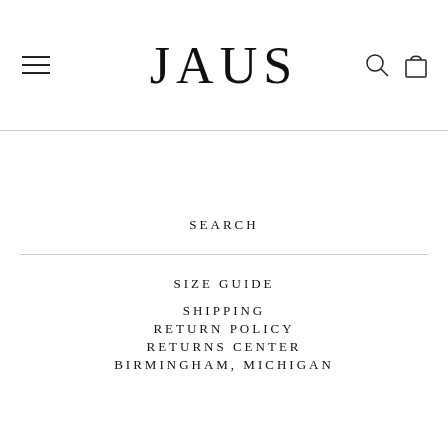JAUS
SEARCH
SIZE GUIDE
SHIPPING
RETURN POLICY
RETURNS CENTER
BIRMINGHAM, MICHIGAN